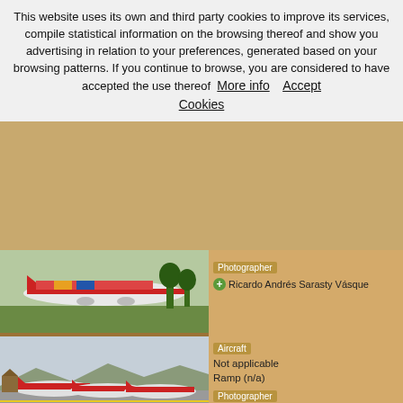This website uses its own and third party cookies to improve its services, compile statistical information on the browsing thereof and show you advertising in relation to your preferences, generated based on your browsing patterns. If you continue to browse, you are considered to have accepted the use thereof  More info    Accept Cookies
[Figure (photo): Airplane on tarmac with red and colorful livery near trees, 1393 views]
Photographer: Ricardo Andrés Sarasty Vásque...
[Figure (photo): Multiple red aircraft parked on ramp/tarmac at airport, 1948 views]
Aircraft: Not applicable
Ramp (n/a)
Photographer: Ricardo Andrés Sarasty Vásque...
1 vote ★ ★ ★ ★ ★
[Figure (photo): Blue airplane at airport, partially visible]
Aircraft: United
Boeing 757-222 (N530UA)